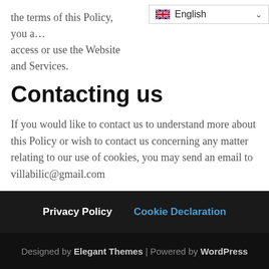the terms of this Policy, you a… access or use the Website and Services.
[Figure (screenshot): Language selector dropdown showing UK flag and 'English' with a chevron arrow]
Contacting us
If you would like to contact us to understand more about this Policy or wish to contact us concerning any matter relating to our use of cookies, you may send an email to villabilic@gmail.com
This document was last updated on February 13, 2021
Privacy Policy   Cookie Declaration
Designed by Elegant Themes | Powered by WordPress